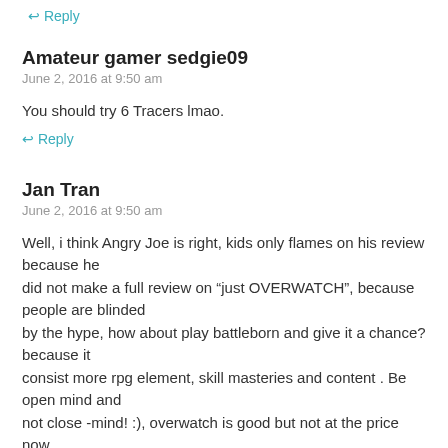↩ Reply
Amateur gamer sedgie09
June 2, 2016 at 9:50 am
You should try 6 Tracers lmao.
↩ Reply
Jan Tran
June 2, 2016 at 9:50 am
Well, i think Angry Joe is right, kids only flames on his review because he did not make a full review on “just OVERWATCH”, because people are blinded by the hype, how about play battleborn and give it a chance? because it consist more rpg element, skill masteries and content . Be open mind and not close -mind! :), overwatch is good but not at the price now